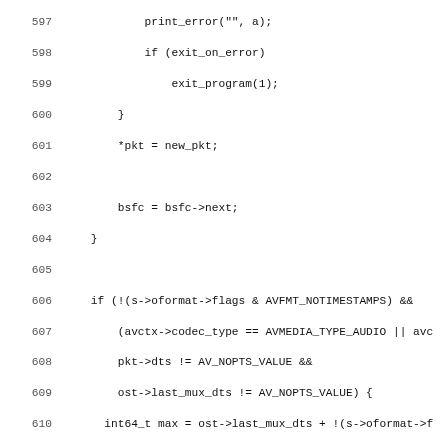Source code listing, lines 597-628, C code involving packet handling and timestamp logic